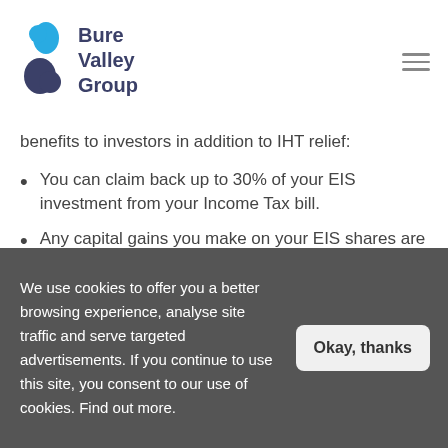[Figure (logo): Bure Valley Group logo with blue and dark teardrop shapes and company name]
benefits to investors in addition to IHT relief:
You can claim back up to 30% of your EIS investment from your Income Tax bill.
Any capital gains you make on your EIS shares are exempt from Capital Gains Tax (CGT) provided you hold your shares for at least three years.
We use cookies to offer you a better browsing experience, analyse site traffic and serve targeted advertisements. If you continue to use this site, you consent to our use of cookies. Find out more.